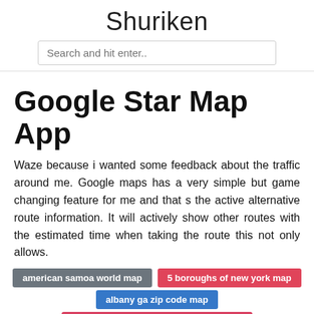Shuriken
Google Star Map App
Waze because i wanted some feedback about the traffic around me. Google maps has a very simple but game changing feature for me and that s the active alternative route information. It will actively show other routes with the estimated time when taking the route this not only allows.
american samoa world map
5 boroughs of new york map
albany ga zip code map
american samoa location on world map
anatolia on world map
37th parallel world map
airports in louisiana map
a map of the world jane hamilton pdf